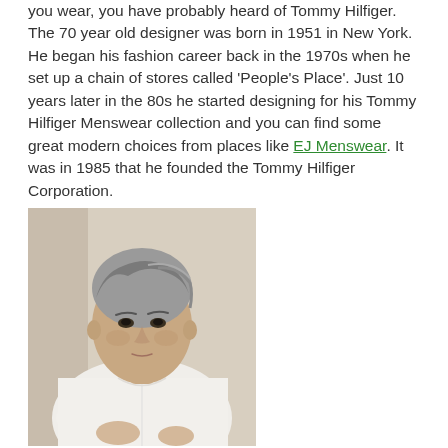you wear, you have probably heard of Tommy Hilfiger. The 70 year old designer was born in 1951 in New York. He began his fashion career back in the 1970s when he set up a chain of stores called 'People's Place'. Just 10 years later in the 80s he started designing for his Tommy Hilfiger Menswear collection and you can find some great modern choices from places like EJ Menswear. It was in 1985 that he founded the Tommy Hilfiger Corporation.
[Figure (photo): Portrait photograph of Tommy Hilfiger, a man with grey-streaked hair wearing a white shirt, seated and looking at the camera]